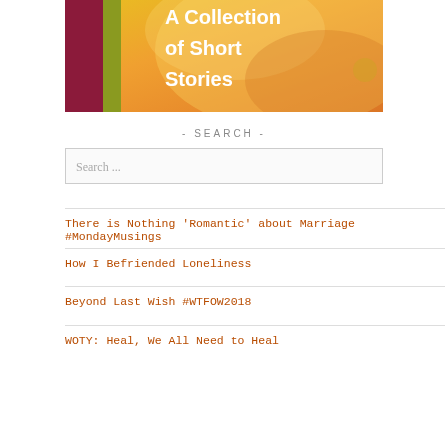[Figure (illustration): Book cover image showing 'A Collection of Short Stories' text on a warm yellow-orange floral background with a dark red/maroon stripe on the left side. White bold text reads 'A Collection of Short Stories'.]
- SEARCH -
Search ...
There is Nothing 'Romantic' about Marriage #MondayMusings
How I Befriended Loneliness
Beyond Last Wish #WTFOW2018
WOTY: Heal, We All Need to Heal